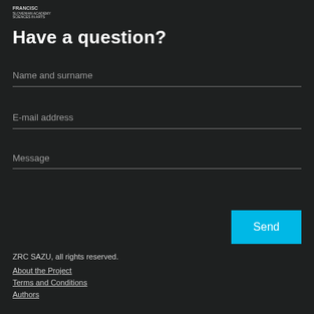[Figure (logo): FRANCISC or similar institution logo in white/grey text on dark background]
Have a question?
Name and surname
E-mail address
Message
Send
ZRC SAZU, all rights reserved.
About the Project
Terms and Conditions
Authors